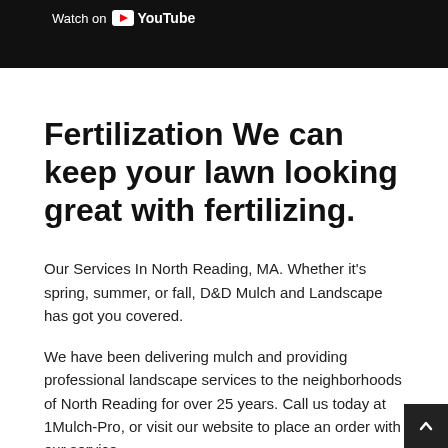[Figure (screenshot): YouTube 'Watch on YouTube' bar with black background, white text and YouTube logo]
Fertilization We can keep your lawn looking great with fertilizing.
Our Services In North Reading, MA. Whether it's spring, summer, or fall, D&D Mulch and Landscape has got you covered.
We have been delivering mulch and providing professional landscape services to the neighborhoods of North Reading for over 25 years. Call us today at 1Mulch-Pro, or visit our website to place an order with our service.
We also provide bark mulch blowing for other landscape